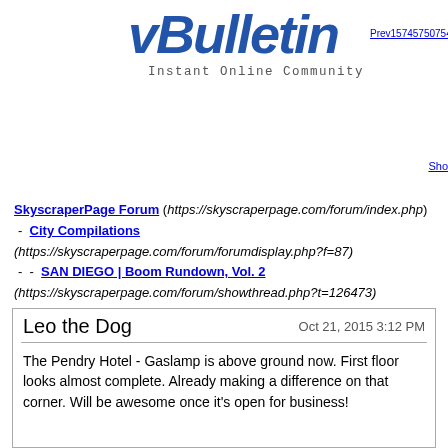[Figure (logo): vBulletin logo with 'Instant Online Community' tagline]
Prev15745750754755355455555655 7... Sho
SkyscraperPage Forum (https://skyscraperpage.com/forum/index.php) - City Compilations (https://skyscraperpage.com/forum/forumdisplay.php?f=87) - - SAN DIEGO | Boom Rundown, Vol. 2 (https://skyscraperpage.com/forum/showthread.php?t=126473)
Leo the Dog
Oct 21, 2015 3:12 PM
The Pendry Hotel - Gaslamp is above ground now. First floor looks almost complete. Already making a difference on that corner. Will be awesome once it's open for business!
mello
Oct 21, 2015 6:49 PM
Yes Pendry and Ballpark Village are going to be very big for our downtown. Big out of the box idea for Horton Plaza: Why doesn't Westfield sell that white elephant to a Chinese Billionaire and have them totally start from scratch? Even renovating that place will be lipstick on a pig and I never really see it being a thriving retail area unless its is totally torn down and start fresh. Look at Brickell Center in Miami with mixed use towers and retail underneath. What do you guys